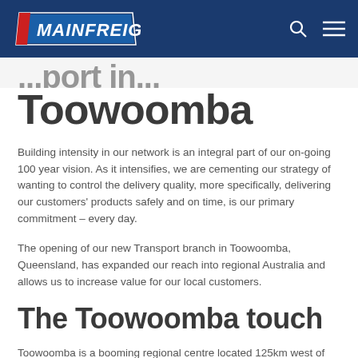[Figure (logo): Mainfreight logo with navigation bar (search and hamburger menu icons) on dark blue background]
...port in...
Toowoomba
Building intensity in our network is an integral part of our on-going 100 year vision. As it intensifies, we are cementing our strategy of wanting to control the delivery quality, more specifically, delivering our customers' products safely and on time, is our primary commitment – every day.
The opening of our new Transport branch in Toowoomba, Queensland, has expanded our reach into regional Australia and allows us to increase value for our local customers.
The Toowoomba touch
Toowoomba is a booming regional centre located 125km west of Brisbane, Queensland. Agriculture and Manufacturing industries are a strategic driver of economic growth in the